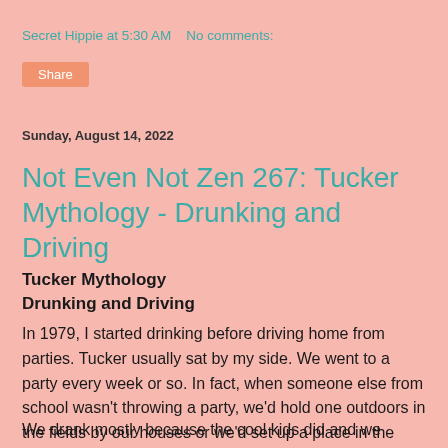Secret Hippie at 5:30 AM   No comments:
Share
Sunday, August 14, 2022
Not Even Not Zen 267: Tucker Mythology - Drunking and Driving
Tucker Mythology
Drunking and Driving
In 1979, I started drinking before driving home from parties. Tucker usually sat by my side. We went to a party every week or so. In fact, when someone else from school wasn't throwing a party, we'd hold one outdoors in the fields by our houses or we'd set up a place in the woods.
We drank mostly because the cool kids did and we wanted